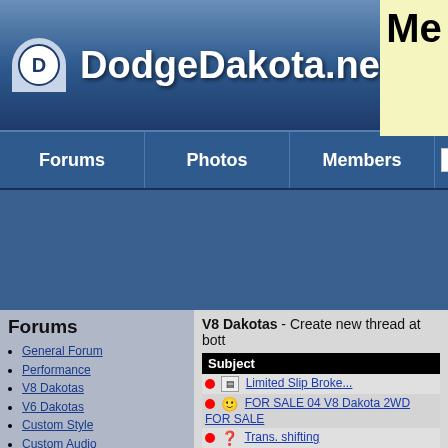DodgeDakota.net
Forums | Photos | Members | ENHANC
Forums
General Forum
Performance
V8 Dakotas
V6 Dakotas
Custom Style
Custom Audio
Off Road
Raised Dakotas
Lowered Daks
Dealer/Recalls
Members Only
| Subject |
| --- |
| Limited Slip Broke... |
| FOR SALE 04 V8 Dakota 2WD FOR SALE |
| Trans. shifting |
| TACH JUMPS 93 DAKOTA |
| Tick when engine strains? |
| Sway Bar Bushings |
| 3.9 to 360 engine swap |
| '03 4.7 low end torque? |